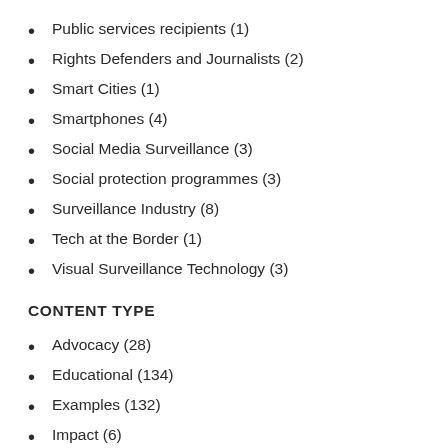Public services recipients (1)
Rights Defenders and Journalists (2)
Smart Cities (1)
Smartphones (4)
Social Media Surveillance (3)
Social protection programmes (3)
Surveillance Industry (8)
Tech at the Border (1)
Visual Surveillance Technology (3)
CONTENT TYPE
Advocacy (28)
Educational (134)
Examples (132)
Impact (6)
Legal (8)
Multimedia (2)
(-) News and Analysis (306)